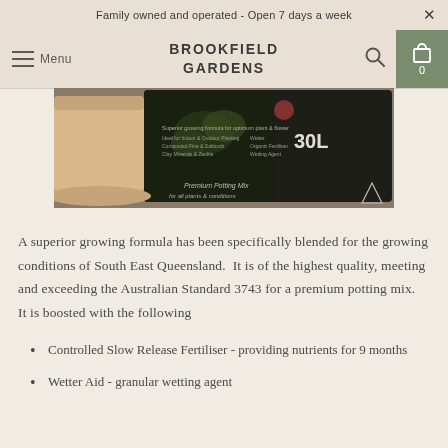Family owned and operated - Open 7 days a week
BROOKFIELD GARDENS
[Figure (photo): Product photo showing a potting mix bag labeled 30L in dark packaging, placed next to a beige terracotta pot on a wooden surface. The bag is a dark/black color with green plant imagery and text about premium potting mix.]
A superior growing formula has been specifically blended for the growing conditions of South East Queensland.  It is of the highest quality, meeting and exceeding the Australian Standard 3743 for a premium potting mix.  It is boosted with the following
Controlled Slow Release Fertiliser - providing nutrients for 9 months
Wetter Aid - granular wetting agent